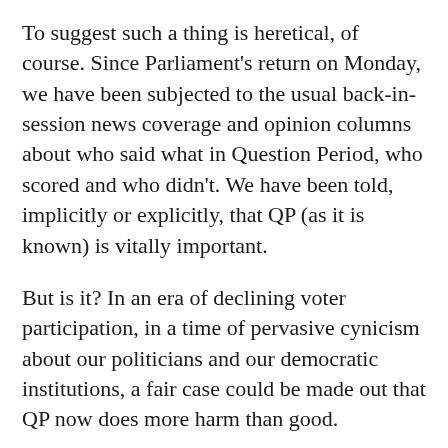To suggest such a thing is heretical, of course. Since Parliament's return on Monday, we have been subjected to the usual back-in-session news coverage and opinion columns about who said what in Question Period, who scored and who didn't. We have been told, implicitly or explicitly, that QP (as it is known) is vitally important.
But is it? In an era of declining voter participation, in a time of pervasive cynicism about our politicians and our democratic institutions, a fair case could be made out that QP now does more harm than good.
It was not always thus. Before the advent of television cameras in the Commons chamber, it is fair to say that QP played an important role in holding the government of the day to account. But